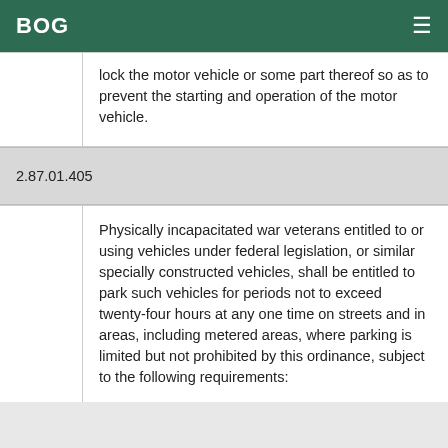BOG
lock the motor vehicle or some part thereof so as to prevent the starting and operation of the motor vehicle.
2.87.01.405
Physically incapacitated war veterans entitled to or using vehicles under federal legislation, or similar specially constructed vehicles, shall be entitled to park such vehicles for periods not to exceed twenty-four hours at any one time on streets and in areas, including metered areas, where parking is limited but not prohibited by this ordinance, subject to the following requirements: